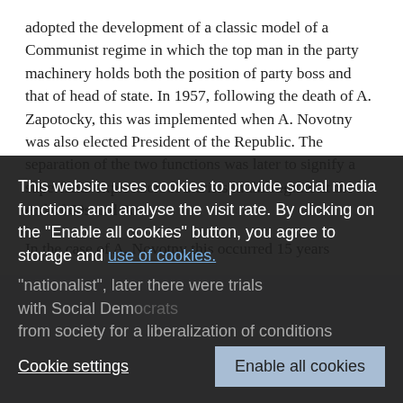adopted the development of a classic model of a Communist regime in which the top man in the party machinery holds both the position of party boss and that of head of state. In 1957, following the death of A. Zapotocky, this was implemented when A. Novotny was also elected President of the Republic. The separation of the two functions was later to signify a superficial expression of a crisis in the regime at the end of 60s and 80s.
In the case of A. Novotny this occurred 15 years after he had adopted this leading position in the party apparatus and...
This website uses cookies to provide social media functions and analyse the visit rate. By clicking on the "Enable all cookies" button, you agree to storage and use of cookies.